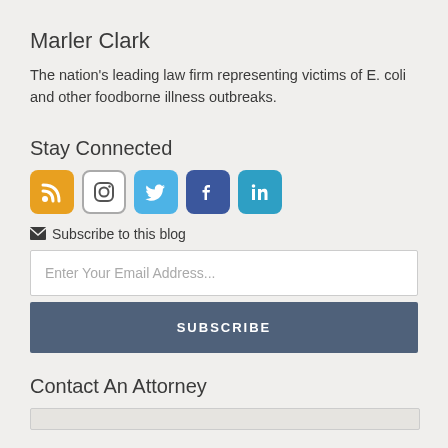Marler Clark
The nation's leading law firm representing victims of E. coli and other foodborne illness outbreaks.
Stay Connected
[Figure (infographic): Row of five social media icon buttons: RSS (orange), Instagram (white/outlined), Twitter (blue bird), Facebook (dark blue f), LinkedIn (blue in)]
✉ Subscribe to this blog
Enter Your Email Address...
SUBSCRIBE
Contact An Attorney